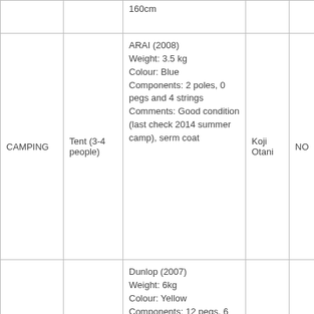|  |  | 160cm |  |  |
| CAMPING | Tent (3-4 people) | ARAI (2008)
Weight: 3.5 kg
Colour: Blue
Components: 2 poles, 0 pegs and 4 strings
Comments: Good condition (last check 2014 summer camp), serm coat | Koji Otani | NO |
| CAMPING | Tent (4-5 people) | Dunlop (2007)
Weight: 6kg
Colour: Yellow
Components: 12 pegs, 6 strings in the cover
Comments: Good condition but better to be used in | Estella | NO |